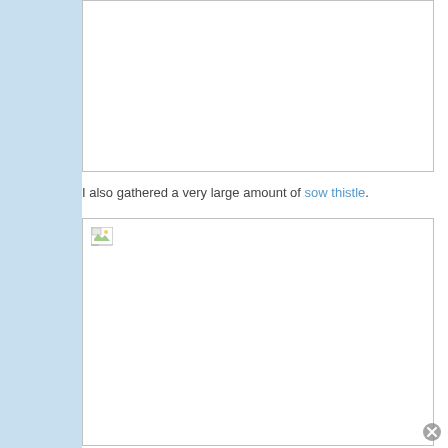[Figure (photo): Top image placeholder box, white with light gray border, no visible image loaded]
I also gathered a very large amount of sow thistle.
[Figure (photo): Bottom image placeholder box with broken image icon in top-left corner, white with light gray border]